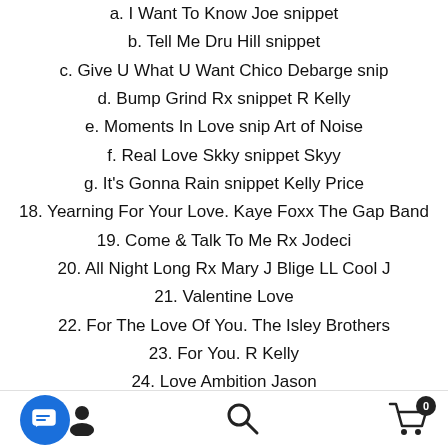a. I Want To Know Joe snippet
b. Tell Me Dru Hill snippet
c. Give U What U Want Chico Debarge snip
d. Bump Grind Rx snippet R Kelly
e. Moments In Love snip Art of Noise
f. Real Love Skky snippet Skyy
g. It's Gonna Rain snippet Kelly Price
18. Yearning For Your Love. Kaye Foxx The Gap Band
19. Come & Talk To Me Rx Jodeci
20. All Night Long Rx Mary J Blige LL Cool J
21. Valentine Love
22. For The Love Of You. The Isley Brothers
23. For You. R Kelly
24. Love Ambition Jason
25. Let's Get It On. Marvin Gaye
Navigation bar with chat, search, and cart icons